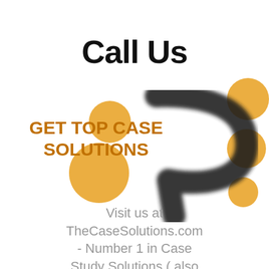Call Us
GET TOP CASE SOLUTIONS
[Figure (illustration): Decorative orange circles on left and right sides with a large black brush-stroke 'P' or swish shape in the center-right area]
Visit us at TheCaseSolutions.com - Number 1 in Case Study Solutions ( also email us at order@thecasesolutions.com